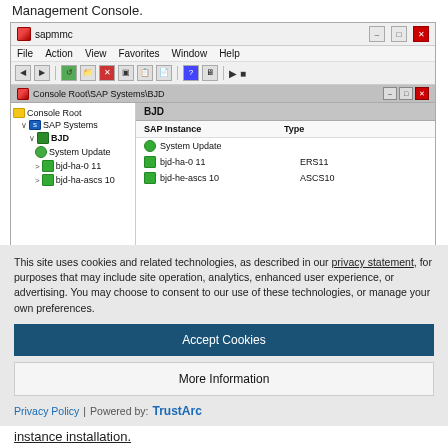Management Console.
[Figure (screenshot): SAP MMC (Microsoft Management Console) screenshot showing Console Root > SAP Systems > BJD tree on the left, and a right panel listing SAP instances: System Update, bjd-ha-011 (ERS11), bjd-he-ascs10 (ASCS10)]
This site uses cookies and related technologies, as described in our privacy statement, for purposes that may include site operation, analytics, enhanced user experience, or advertising. You may choose to consent to our use of these technologies, or manage your own preferences.
Accept Cookies
More Information
Privacy Policy | Powered by: TrustArc
instance installation.